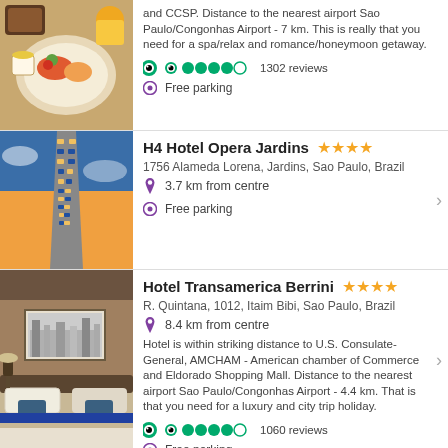[Figure (photo): Breakfast food spread with fruits and drinks on a table]
and CCSP. Distance to the nearest airport Sao Paulo/Congonhas Airport - 7 km. This is really that you need for a spa/relax and romance/honeymoon getaway.
1302 reviews
Free parking
[Figure (photo): Tall hotel building photographed from below against blue sky]
H4 Hotel Opera Jardins ★★★★
1756 Alameda Lorena, Jardins, Sao Paulo, Brazil
3.7 km from centre
Free parking
[Figure (photo): Hotel room with large bed and artwork on wall]
Hotel Transamerica Berrini ★★★★
R. Quintana, 1012, Itaim Bibi, Sao Paulo, Brazil
8.4 km from centre
Hotel is within striking distance to U.S. Consulate-General, AMCHAM - American chamber of Commerce and Eldorado Shopping Mall. Distance to the nearest airport Sao Paulo/Congonhas Airport - 4.4 km. That is that you need for a luxury and city trip holiday.
1060 reviews
Free parking